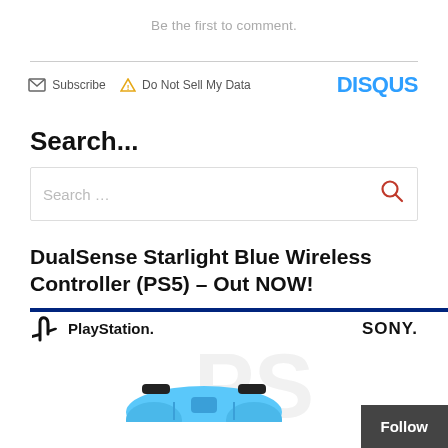Be the first to comment.
[Figure (screenshot): Disqus footer bar with Subscribe, Do Not Sell My Data links and DISQUS logo]
Search...
[Figure (screenshot): Search input box with magnifier icon]
DualSense Starlight Blue Wireless Controller (PS5) – Out NOW!
[Figure (photo): PlayStation and SONY logos with a starlight blue DualSense PS5 controller partially visible at bottom]
Follow